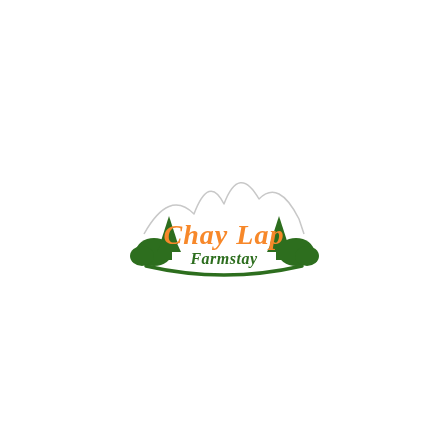[Figure (logo): Chay Lap Farmstay logo: orange cursive text 'Chay Lap' above green italic text 'Farmstay', surrounded by green tree silhouettes and a green curved ground line, with a light grey mountain outline in the background.]